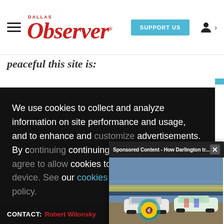Dallas Observer — SUPPORT US
peacetu this site is:
We use cookies to collect and analyze information on site performance and usage, and to enhance and customize advertisements. By continuing to use the cookies to be placed our cookies policy a
[Figure (screenshot): Sponsored Content popup showing NASCAR race cars with text 'Sponsored Content - How Darlington tr...' and a mute button, with a close X button]
Got it!
as $1.
CONTACT: Robert Wilonsky